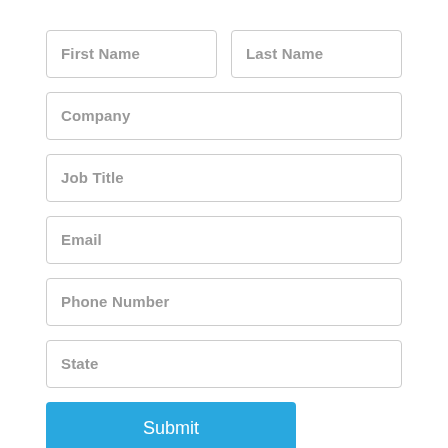First Name
Last Name
Company
Job Title
Email
Phone Number
State
Submit